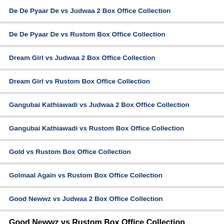De De Pyaar De vs Judwaa 2 Box Office Collection
De De Pyaar De vs Rustom Box Office Collection
Dream Girl vs Judwaa 2 Box Office Collection
Dream Girl vs Rustom Box Office Collection
Gangubai Kathiawadi vs Judwaa 2 Box Office Collection
Gangubai Kathiawadi vs Rustom Box Office Collection
Gold vs Rustom Box Office Collection
Golmaal Again vs Rustom Box Office Collection
Good Newwz vs Judwaa 2 Box Office Collection
Good Newwz vs Rustom Box Office Collection